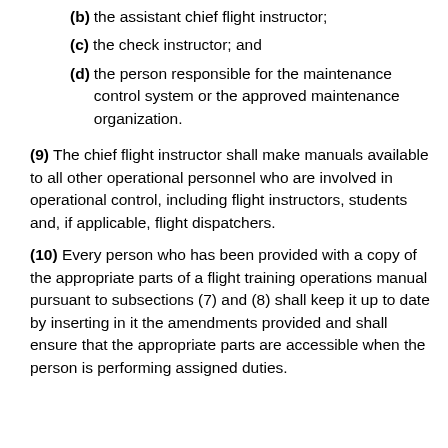(b) the assistant chief flight instructor;
(c) the check instructor; and
(d) the person responsible for the maintenance control system or the approved maintenance organization.
(9) The chief flight instructor shall make manuals available to all other operational personnel who are involved in operational control, including flight instructors, students and, if applicable, flight dispatchers.
(10) Every person who has been provided with a copy of the appropriate parts of a flight training operations manual pursuant to subsections (7) and (8) shall keep it up to date by inserting in it the amendments provided and shall ensure that the appropriate parts are accessible when the person is performing assigned duties.